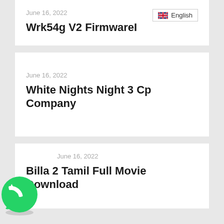June 16, 2022
Wrk54g V2 FirmwareI
English
June 16, 2022
White Nights Night 3 Cp Company
June 16, 2022
Billa 2 Tamil Full Movie Download
[Figure (logo): WhatsApp green circular logo with phone handset icon]